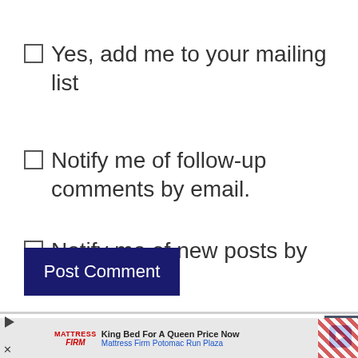Yes, add me to your mailing list
Notify me of follow-up comments by email.
Notify me of new posts by email.
Post Comment
[Figure (screenshot): Advertisement banner: Mattress Firm - King Bed For A Queen Price Now, Mattress Firm Potomac Run Plaza]